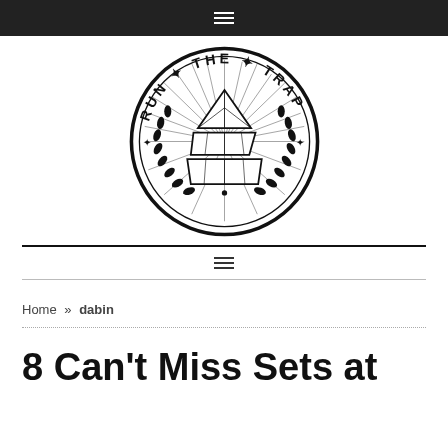≡
[Figure (logo): Run The Trap circular logo with pyramid graphic, laurel wreath, and stars around the border]
≡
Home » dabin
8 Can't Miss Sets at